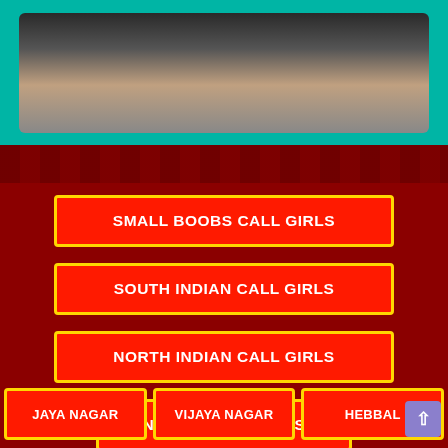[Figure (photo): Partial view of a person's torso and arms against a dark background, framed in teal/cyan border]
SMALL BOOBS CALL GIRLS
SOUTH INDIAN CALL GIRLS
NORTH INDIAN CALL GIRLS
NALANDA ESCORTS
JAYA NAGAR
VIJAYA NAGAR
HEBBAL